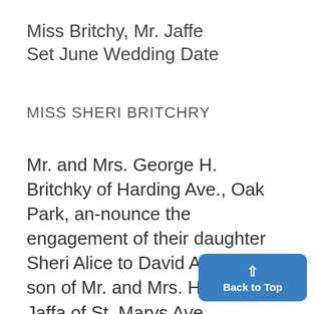Miss Britchy, Mr. Jaffe Set June Wedding Date
MISS SHERI BRITCHRY
Mr. and Mrs. George H. Britchky of Harding Ave., Oak Park, announce the engagement of their daughter Sheri Alice to David Allen Jaffa, son of Mr. and Mrs. Harold S. Jaffa of St. Marys Ave. The bride-elect is a senior in Wayne State University's colleg